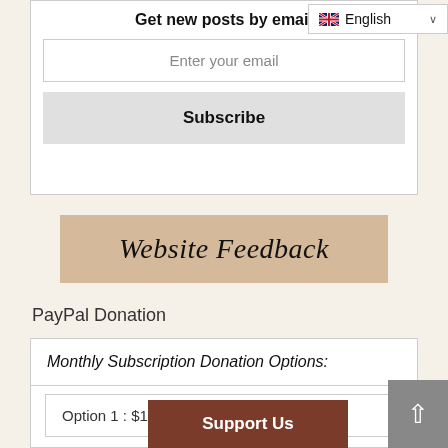Get new posts by email
Enter your email
Subscribe
[Figure (screenshot): English language dropdown selector in top right]
[Figure (illustration): Website Feedback banner with script/cursive text on tan/beige background]
PayPal Donation
Monthly Subscription Donation Options:
Option 1 : $1  monthly
Support Us
[Figure (screenshot): Back to top arrow button in grey on bottom right]